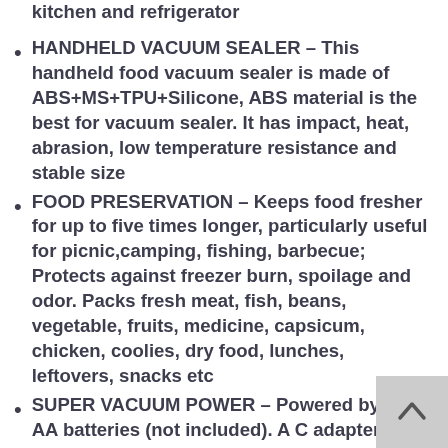kitchen and refrigerator
HANDHELD VACUUM SEALER – This handheld food vacuum sealer is made of ABS+MS+TPU+Silicone, ABS material is the best for vacuum sealer. It has impact, heat, abrasion, low temperature resistance and stable size
FOOD PRESERVATION – Keeps food fresher for up to five times longer, particularly useful for picnic,camping, fishing, barbecue; Protects against freezer burn, spoilage and odor. Packs fresh meat, fish, beans, vegetable, fruits, medicine, capsicum, chicken, coolies, dry food, lunches, leftovers, snacks etc
SUPER VACUUM POWER – Powered by 6 x AA batteries (not included). A C adapter...